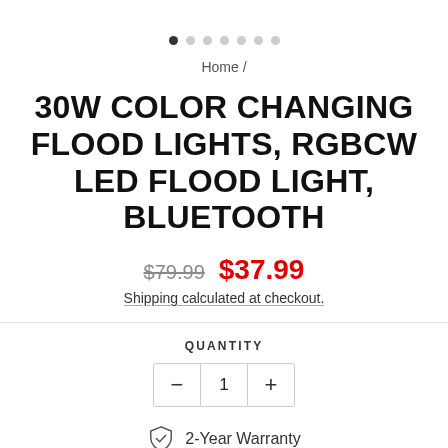[Figure (other): Carousel navigation dots, 7 dots total with first dot filled/active]
Home /
30W COLOR CHANGING FLOOD LIGHTS, RGBCW LED FLOOD LIGHT, BLUETOOTH
$79.99  $37.99
Shipping calculated at checkout.
QUANTITY
− 1 +
2-Year Warranty